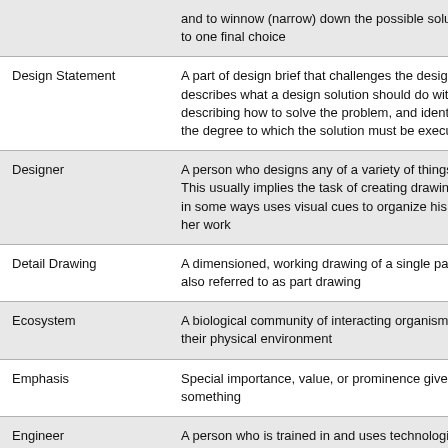| Term | Definition |
| --- | --- |
|  | and to winnow (narrow) down the possible solutions to one final choice |
| Design Statement | A part of design brief that challenges the designer, describes what a design solution should do without describing how to solve the problem, and identifies the degree to which the solution must be executed |
| Designer | A person who designs any of a variety of things. This usually implies the task of creating drawings or in some ways uses visual cues to organize his or her work |
| Detail Drawing | A dimensioned, working drawing of a single part, also referred to as part drawing |
| Ecosystem | A biological community of interacting organisms and their physical environment |
| Emphasis | Special importance, value, or prominence given to something |
| Engineer | A person who is trained in and uses technological and scientific knowledge to solve practical problems |
| Engineer's | 1. A record of design ideas generated in the course of an engineer's employment that the company claiming their result... |